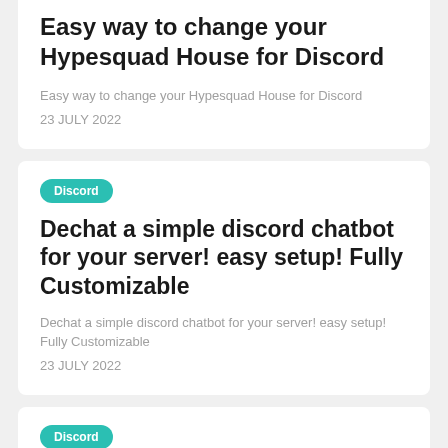Easy way to change your Hypesquad House for Discord
Easy way to change your Hypesquad House for Discord
23 JULY 2022
Discord
Dechat a simple discord chatbot for your server! easy setup! Fully Customizable
Dechat a simple discord chatbot for your server! easy setup! Fully Customizable
23 JULY 2022
Discord